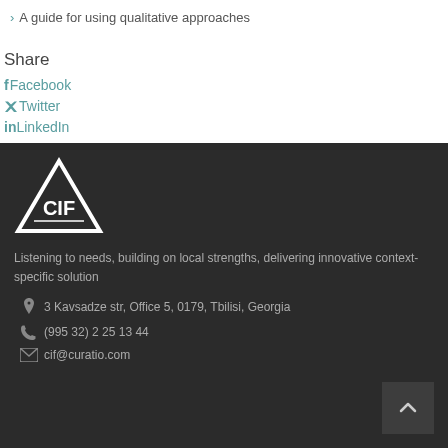A guide for using qualitative approaches
Share
Facebook
Twitter
LinkedIn
[Figure (logo): CIF triangular logo with 'CIF' text inside, white outline on dark background]
Listening to needs, building on local strengths, delivering innovative context-specific solution
3 Kavsadze str, Office 5, 0179, Tbilisi, Georgia
(995 32) 2 25 13 44
cif@curatio.com